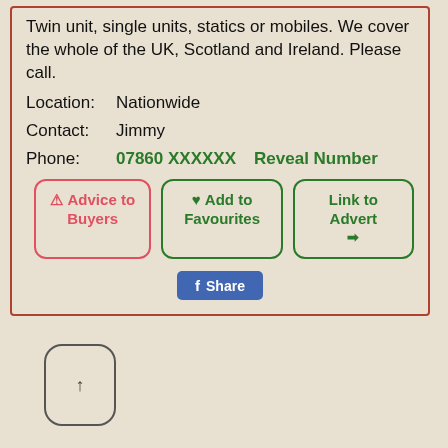Twin unit, single units, statics or mobiles. We cover the whole of the UK, Scotland and Ireland. Please call.
Location: Nationwide
Contact: Jimmy
Phone: 07860 XXXXXX  Reveal Number
[Figure (screenshot): Three action buttons: 'Advice to Buyers' (red border), 'Add to Favourites' (green border with heart), 'Link to Advert' (green border with arrow)]
[Figure (screenshot): Facebook Share button in blue]
[Figure (screenshot): Scroll up button at bottom left, rounded square with up arrow]